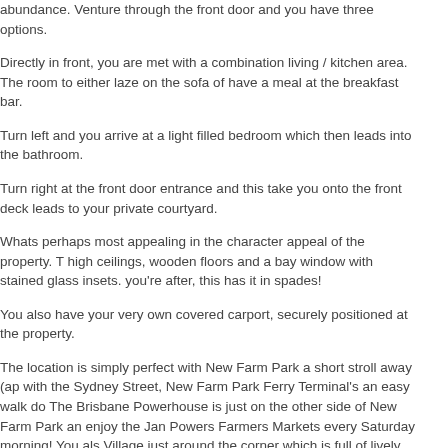abundance. Venture through the front door and you have three options.
Directly in front, you are met with a combination living / kitchen area. The room to either laze on the sofa of have a meal at the breakfast bar.
Turn left and you arrive at a light filled bedroom which then leads into the bathroom.
Turn right at the front door entrance and this take you onto the front deck leads to your private courtyard.
Whats perhaps most appealing in the character appeal of the property. T high ceilings, wooden floors and a bay window with stained glass insets. you're after, this has it in spades!
You also have your very own covered carport, securely positioned at the property.
The location is simply perfect with New Farm Park a short stroll away (ap with the Sydney Street, New Farm Park Ferry Terminal's an easy walk do The Brisbane Powerhouse is just on the other side of New Farm Park an enjoy the Jan Powers Farmers Markets every Saturday morning! You als Village just around the corner which is full of lively boutique shops, cafes and a Coles supermarket. You can forget your car and literally walk (or ri everywhere. Perfection!